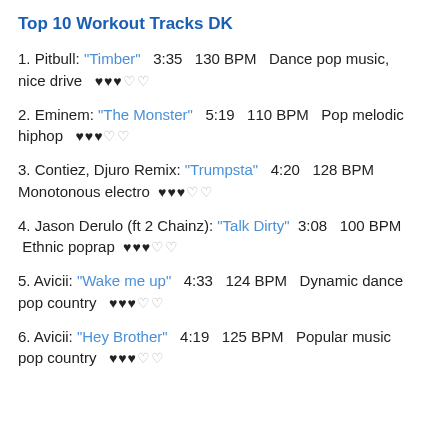Top 10 Workout Tracks DK
1. Pitbull: "Timber" 3:35 130 BPM Dance pop music, nice drive ♥♥♥♡♡
2. Eminem: "The Monster" 5:19 110 BPM Pop melodic hiphop ♥♥♥♡♡
3. Contiez, Djuro Remix: "Trumpsta" 4:20 128 BPM Monotonous electro ♥♥♥♡♡
4. Jason Derulo (ft 2 Chainz): "Talk Dirty" 3:08 100 BPM Ethnic poprap ♥♥♥♡♡
5. Avicii: "Wake me up" 4:33 124 BPM Dynamic dance pop country ♥♥♥♡♡
6. Avicii: "Hey Brother" 4:19 125 BPM Popular music pop country ♥♥♥♡♡